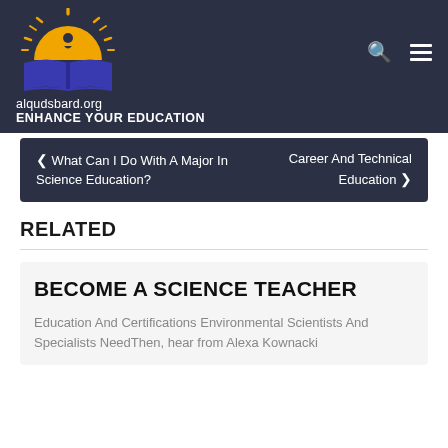[Figure (logo): alqudsbard.org logo with sun and open book in blue and orange/yellow colors]
alqudsbard.org
ENHANCE YOUR EDUCATION
< What Can I Do With A Major In Science Education?
Career And Technical Education >
RELATED
BECOME A SCIENCE TEACHER
Education And Certifications Environmental Scientists And Specialists NeedThen, hear from Alexa Kownacki